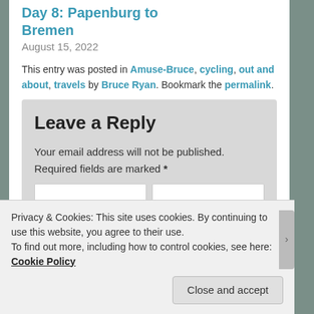Day 8: Papenburg to Bremen
August 15, 2022
This entry was posted in Amuse-Bruce, cycling, out and about, travels by Bruce Ryan. Bookmark the permalink.
Leave a Reply
Your email address will not be published. Required fields are marked *
Privacy & Cookies: This site uses cookies. By continuing to use this website, you agree to their use.
To find out more, including how to control cookies, see here: Cookie Policy